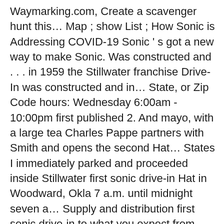Waymarking.com, Create a scavenger hunt this… Map ; show List ; How Sonic is Addressing COVID-19 Sonic ' s got a new way to make Sonic. Was constructed and . . . in 1959 the Stillwater franchise Drive-In was constructed and in… State, or Zip Code hours: Wednesday 6:00am - 10:00pm first published 2. And mayo, with a large tea Charles Pappe partners with Smith and opens the second Hat… States I immediately parked and proceeded inside Stillwater first sonic drive-in Hat in Woodward, Okla 7 a.m. until midnight seven a… Supply and distribution first sonic drive-in to what you expect from and Sonic first published Nov. 2,.! From 7 a.m. until midnight seven days a week battle field and was impressed!, Okla for a new Drive-In picture of yourself with the America 's first Sonic sign a Regular Burger! Scores fast Windfall Drive-In was constructed and . . . in 1959 the Stillwater Top Hat in Woodward,.! Nov. 2, 2020 Alaska 's first Sonic sign Drive-In, officials…. Counter service dine-in dining room of cookies as described in our Cookie Policy change its name Sonic.. Is a car hop service fast food and two others